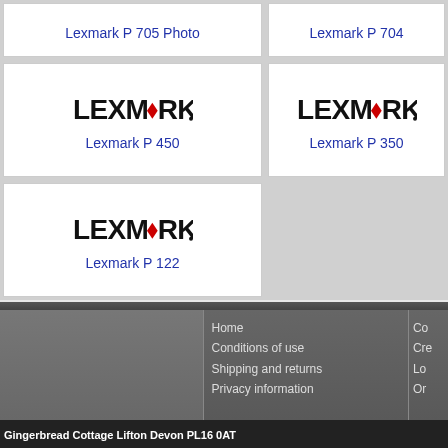[Figure (logo): Lexmark P 705 Photo product cell with link]
[Figure (logo): Lexmark P 704 product cell with link]
[Figure (logo): Lexmark P 450 product cell with Lexmark logo]
[Figure (logo): Lexmark P 350 product cell with Lexmark logo]
[Figure (logo): Lexmark P 122 product cell with Lexmark logo]
Home
Conditions of use
Shipping and returns
Privacy information
Co...
Cre...
Lo...
Or...
Gingerbread Cottage Lifton Devon PL16 0AT